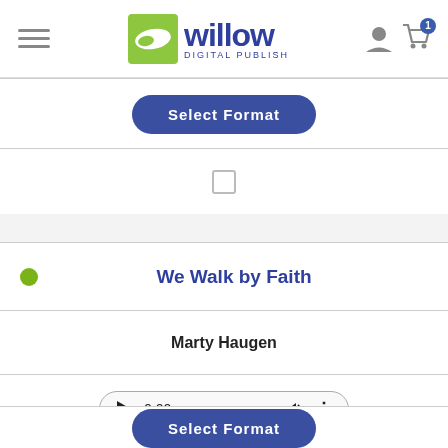Willow Digital Publishing – navigation bar with hamburger menu, logo, user icon, and cart (1 item)
[Figure (screenshot): Select Format button (dark blue rounded rectangle)]
[Figure (screenshot): Checkbox (unchecked square)]
We Walk by Faith
Marty Haugen
[Figure (screenshot): Audio player control showing play button, 0:00 timestamp, progress bar, volume icon, and more options icon]
[Figure (screenshot): Select Format button (dark blue rounded rectangle, partially visible)]